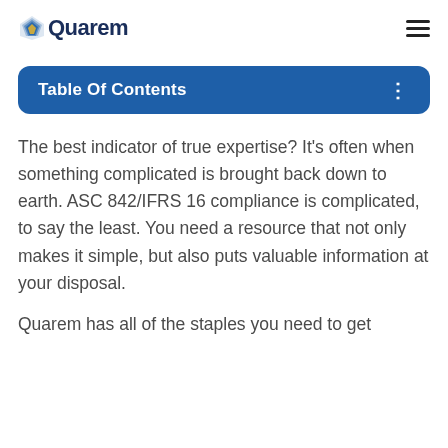Quarem
Table Of Contents
The best indicator of true expertise? It's often when something complicated is brought back down to earth. ASC 842/IFRS 16 compliance is complicated, to say the least. You need a resource that not only makes it simple, but also puts valuable information at your disposal.
Quarem has all of the staples you need to get